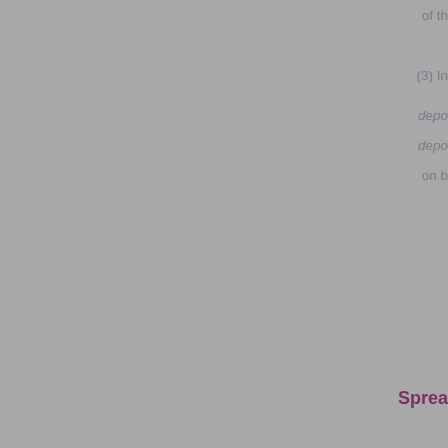of th
(3) In
depo
depo
on b
Sprea
COLL 5.6.8
R
01/10/2016
[Figure (other): Layers/stack icon in teal border box]
(1) T
instr
(a
(b
(c
(d
(2) T
to inv
5.2.1